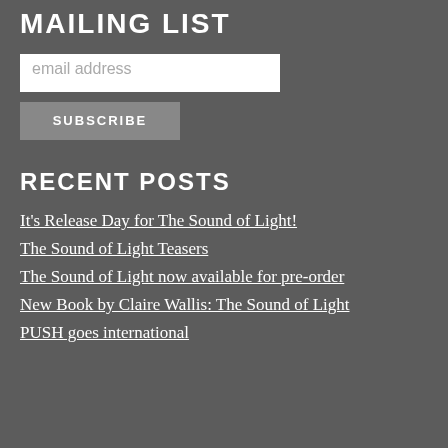MAILING LIST
email address
SUBSCRIBE
RECENT POSTS
It's Release Day for The Sound of Light!
The Sound of Light Teasers
The Sound of Light now available for pre-order
New Book by Claire Wallis: The Sound of Light
PUSH goes international
Claire
@Clai
RT @Chaude2 Claire Wallis is always been a nothing I... http
about 5 years ago
RT @Schmexy has a new boo Light sounds re girl has always
about 5 years ago
RT @BookBist LIGHT by @Cl #BookBistroBlo https://t.co/qcS https://t.co/gfR
about 5 years ago